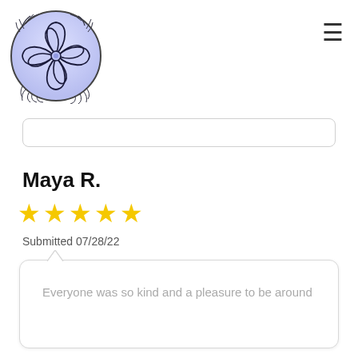[Figure (logo): Circular logo with a blue/purple background featuring a geometric flower/star design with overlapping petal shapes and decorative wheat/leaf borders around the circle edge]
Maya R.
[Figure (other): Five gold/yellow star rating icons]
Submitted 07/28/22
Everyone was so kind and a pleasure to be around